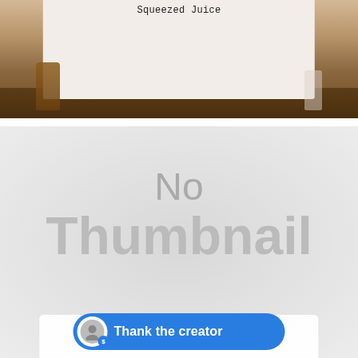[Figure (photo): Top portion of a food/drink blog page showing a photo of squeezed juice in glass bottles on a wooden surface, with a white overlay label reading 'Squeezed Juice']
[Figure (other): A gray placeholder image with the text 'No Thumbnail' in large gray letters, and a caption overlay reading 'Holiday Dinners Made Easy + W... YEAWAY!!' with emoji decorations]
Thank the creator